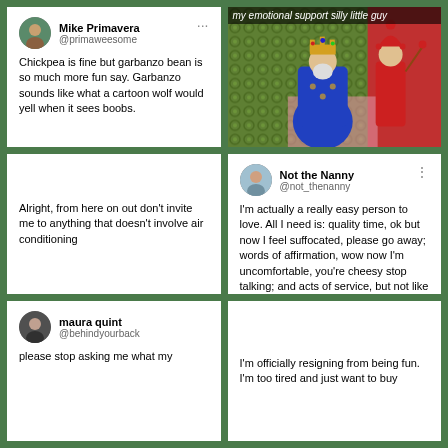[Figure (screenshot): Tweet from Mike Primavera (@primaweesome): 'Chickpea is fine but garbanzo bean is so much more fun say. Garbanzo sounds like what a cartoon wolf would yell when it sees boobs.']
[Figure (photo): Medieval painting of a king in blue robes with a jester in red, captioned 'my emotional support silly little guy']
[Figure (screenshot): Plain tweet text: 'Alright, from here on out don't invite me to anything that doesn't involve air conditioning']
[Figure (screenshot): Tweet from Not the Nanny (@not_thenanny): 'I'm actually a really easy person to love. All I need is: quality time, ok but now I feel suffocated, please go away; words of affirmation, wow now I'm uncomfortable, you're cheesy stop talking; and acts of service, but not like that, that's wrong, I'll just do it myself.']
[Figure (screenshot): Tweet from maura quint (@behindyourback): 'please stop asking me what my...' (cut off)]
[Figure (screenshot): Partial tweet text: 'I'm officially resigning from being fun. I'm too tired and just want to buy...' (cut off)]